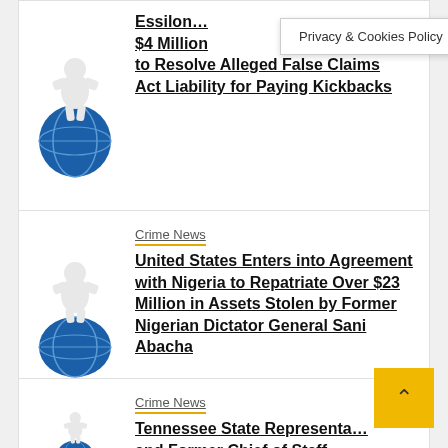Essilon... $4 Million to Resolve Alleged False Claims Act Liability for Paying Kickbacks
Privacy & Cookies Policy
Crime News
United States Enters into Agreement with Nigeria to Repatriate Over $23 Million in Assets Stolen by Former Nigerian Dictator General Sani Abacha
Crime News
Tennessee State Representative and Former Chief of Staff Charged with Bribery and Kickbacks...